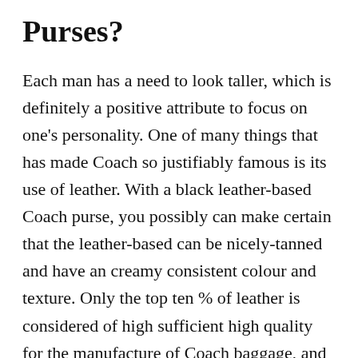Purses?
Each man has a need to look taller, which is definitely a positive attribute to focus on one's personality. One of many things that has made Coach so justifiably famous is its use of leather. With a black leather-based Coach purse, you possibly can make certain that the leather-based can be nicely-tanned and have an creamy consistent colour and texture. Only the top ten % of leather is considered of high sufficient high quality for the manufacture of Coach baggage, and whether or not tactile or visible, the Coach bag is awfully pleasing to the senses. You will find the leather on Coach baggage, no matter what the color, to be each